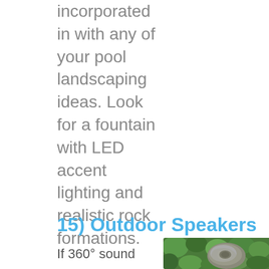incorporated in with any of your pool landscaping ideas. Look for a fountain with LED accent lighting and realistic rock formations.
15)  Outdoor Speakers
If 360° sound
[Figure (photo): Outdoor rock speaker camouflaged among green foliage and plants]